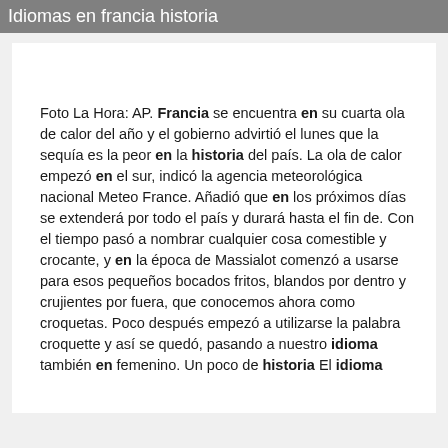Idiomas en francia historia
Foto La Hora: AP. Francia se encuentra en su cuarta ola de calor del año y el gobierno advirtió el lunes que la sequía es la peor en la historia del país. La ola de calor empezó en el sur, indicó la agencia meteorológica nacional Meteo France. Añadió que en los próximos días se extenderá por todo el país y durará hasta el fin de. Con el tiempo pasó a nombrar cualquier cosa comestible y crocante, y en la época de Massialot comenzó a usarse para esos pequeños bocados fritos, blandos por dentro y crujientes por fuera, que conocemos ahora como croquetas. Poco después empezó a utilizarse la palabra croquette y así se quedó, pasando a nuestro idioma también en femenino. Un poco de historia El idioma